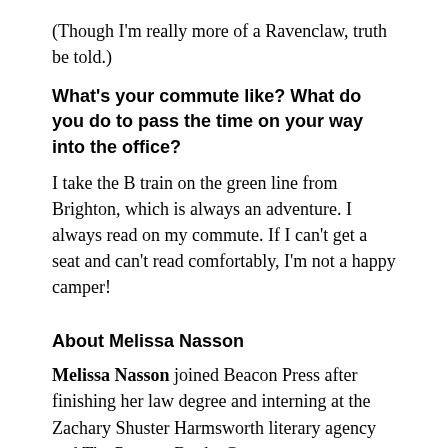(Though I'm really more of a Ravenclaw, truth be told.)
What's your commute like? What do you do to pass the time on your way into the office?
I take the B train on the green line from Brighton, which is always an adventure. I always read on my commute. If I can't get a seat and can't read comfortably, I'm not a happy camper!
About Melissa Nasson
Melissa Nasson joined Beacon Press after finishing her law degree and interning at the Zachary Shuster Harmsworth literary agency and The Perseus Books Group.